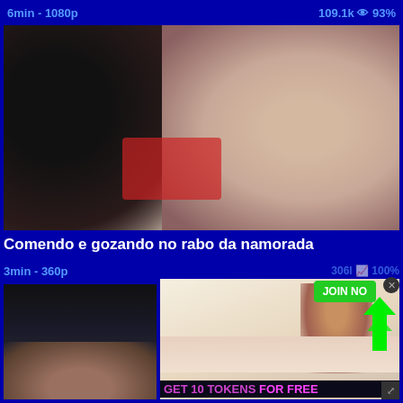6min - 1080p   109.1k 👁 93%
[Figure (screenshot): Video thumbnail showing close-up intimate scene with dark and light tones, red fabric visible]
Comendo e gozando no rabo da namorada
3min - 360p
[Figure (screenshot): Bottom left video thumbnail showing dark scene with figure]
[Figure (photo): Advertisement overlay showing woman in lingerie on bed with JOIN NOW button and GET 10 TOKENS FOR FREE text]